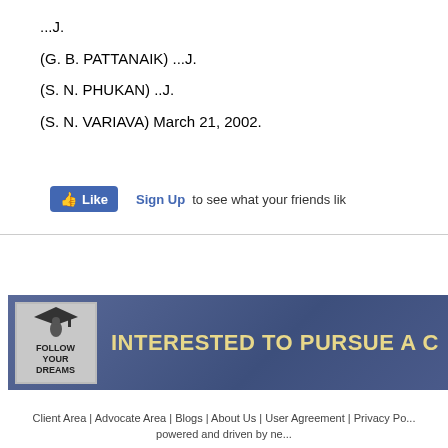...J.
(G. B. PATTANAIK) ...J.
(S. N. PHUKAN) ..J.
(S. N. VARIAVA) March 21, 2002.
[Figure (screenshot): Facebook Like button widget with Sign Up link and text 'to see what your friends lik']
[Figure (infographic): Banner with 'Follow Your Dreams' logo and text 'INTERESTED TO PURSUE A C' in gold on blue background]
Client Area | Advocate Area | Blogs | About Us | User Agreement | Privacy Po... powered and driven by ne...